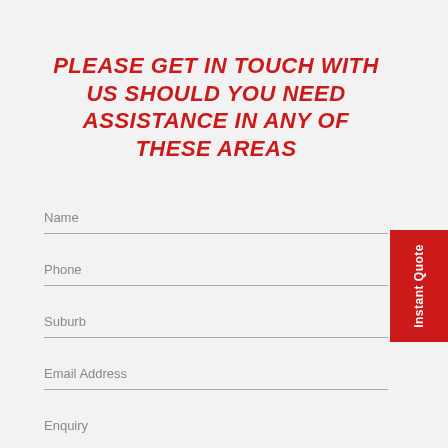PLEASE GET IN TOUCH WITH US SHOULD YOU NEED ASSISTANCE IN ANY OF THESE AREAS
Name
Phone
Suburb
Email Address
Enquiry